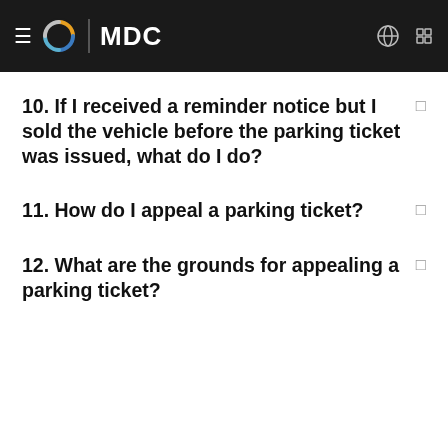MDC
10. If I received a reminder notice but I sold the vehicle before the parking ticket was issued, what do I do?
11. How do I appeal a parking ticket?
12. What are the grounds for appealing a parking ticket?